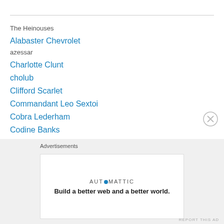The Heinouses
Alabaster Chevrolet
azessar
Charlotte Clunt
cholub
Clifford Scarlet
Commandant Leo Sextoi
Cobra Lederham
Codine Banks
Reverend Doctor Dee Dee Turlington, Esquire, Attorney at Law
Detroit Slim
Doctor Tattersail
Dolphintail Espinoza
Elder Tickles
Advertisements
AUTOMATTIC
Build a better web and a better world.